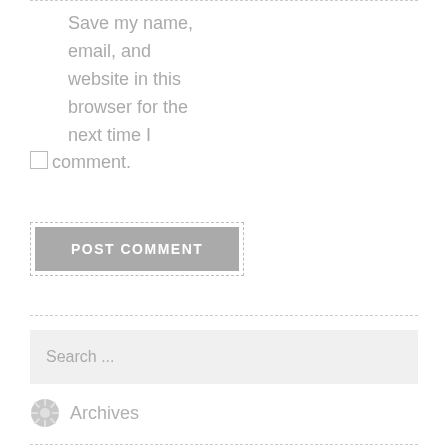Save my name, email, and website in this browser for the next time I comment.
POST COMMENT
Search ...
Archives